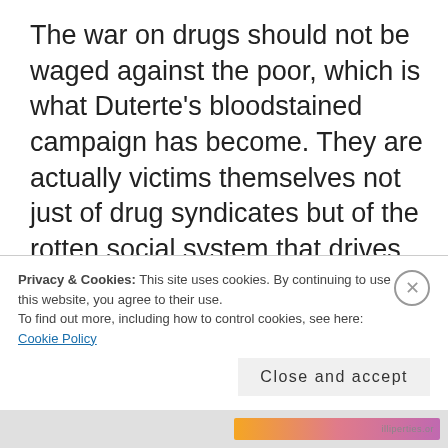The war on drugs should not be waged against the poor, which is what Duterte's bloodstained campaign has become. They are actually victims themselves not just of drug syndicates but of the rotten social system that drives them into desperation and into criminal activities like small-time drug peddling. Even when dead bodies massively pile up, the
Privacy & Cookies: This site uses cookies. By continuing to use this website, you agree to their use.
To find out more, including how to control cookies, see here: Cookie Policy
Close and accept